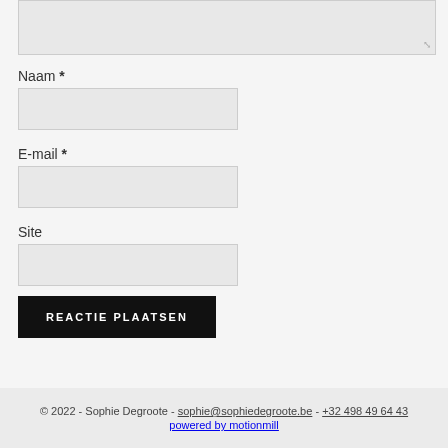Naam *
E-mail *
Site
REACTIE PLAATSEN
© 2022 - Sophie Degroote - sophie@sophiedegroote.be - +32 498 49 64 43 powered by motionmill